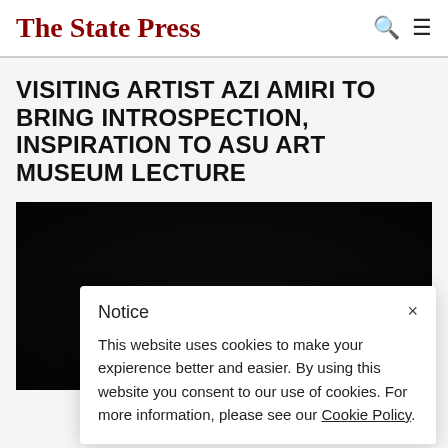The State Press
VISITING ARTIST AZI AMIRI TO BRING INTROSPECTION, INSPIRATION TO ASU ART MUSEUM LECTURE
[Figure (photo): Dark background photo, appears to show a dimly lit scene with a faint glowing light source in the center and a figure visible at the bottom]
Notice
This website uses cookies to make your expierence better and easier. By using this website you consent to our use of cookies. For more information, please see our Cookie Policy.